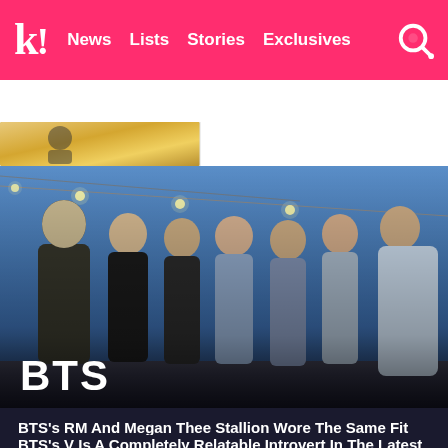k! News Lists Stories Exclusives [search]
BTS   BLACKPINK   Girls' Generation   TWICE   NCT   SEVE
[Figure (photo): Small thumbnail preview image strip at top of article listing]
[Figure (photo): BTS group photo — seven members posing together outdoors against blue sky backdrop with string lights; labeled BTS in white bold text overlay]
BTS's RM And Megan Thee Stallion Wore The Same Fit But Served Totally Different Vibes
BTS's V Is A Completely Relatable Introvert In The Latest